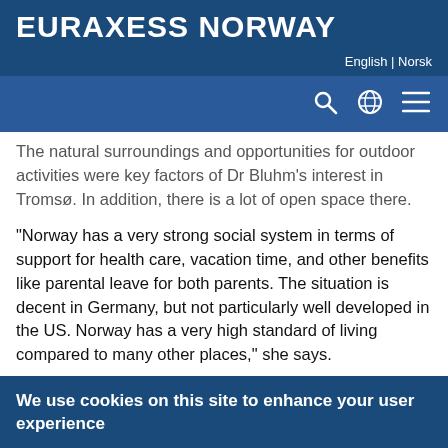EURAXESS NORWAY
English | Norsk
The natural surroundings and opportunities for outdoor activities were key factors of Dr Bluhm's interest in Tromsø. In addition, there is a lot of open space there.
“Norway has a very strong social system in terms of support for health care, vacation time, and other benefits like parental leave for both parents. The situation is decent in Germany, but not particularly well developed in the US. Norway has a very high standard of living compared to many other places,” she says.
Life in Tromsø has also presented a number of surprising
We use cookies on this site to enhance your user experience